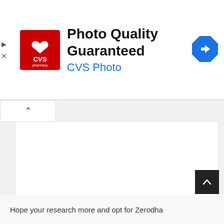[Figure (screenshot): CVS Pharmacy advertisement banner with red logo, 'Photo Quality Guaranteed' headline, 'CVS Photo' subtitle in blue, and a blue diamond direction arrow on the right]
[Figure (screenshot): Web page UI with collapse tab (caret up), white content panel, scroll-to-top button (dark square with up arrow)]
Hope your research more and opt for Zerodha